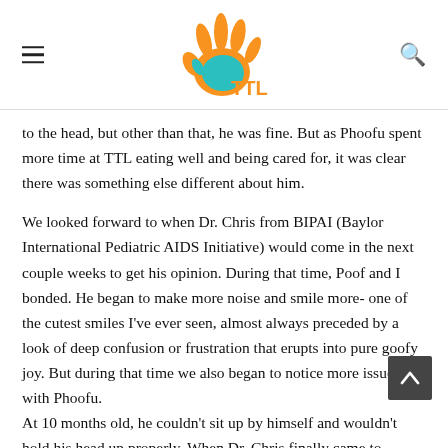TTL (logo with handprint)
to the head, but other than that, he was fine. But as Phoofu spent more time at TTL eating well and being cared for, it was clear there was something else different about him.
We looked forward to when Dr. Chris from BIPAI (Baylor International Pediatric AIDS Initiative) would come in the next couple weeks to get his opinion. During that time, Poof and I bonded. He began to make more noise and smile more- one of the cutest smiles I've ever seen, almost always preceded by a look of deep confusion or frustration that erupts into pure goofy joy. But during that time we also began to notice more issues with Phoofu.
At 10 months old, he couldn't sit up by himself and wouldn't hold his head up properly. When Dr. Chris finally came to